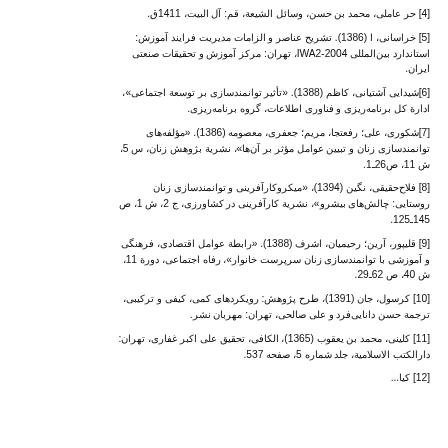[4] حر عاملی، محمد بن حسن، وسائل الشیعة، قم: آل البیت، 1411ق.
[5] خراسانی، ا (1386). تشریح عناصر و الزامات مدیریت فرایند آموزش: استاندارد بینالمللی IWA2-2004، تهران: مرکز آموزش و تحقیقات صنعتی ایران.
[6]شیدایی آشتیانی، کاظم (1388). «تأثیر توانمندسازی بر توسعة اجتماعی»، ادارة کل برنامه‌ریزی و فناوری اطلاعات، گروه برنامه‌ریزی.
[7]شکوری، علی؛ رفعتجا، مریم؛ جعفری، معصومه (1386). «مؤلفه‌های توانمندسازی زنان و تبیین عوامل مؤثر بر آن‌ها»، نشریة بژوهش زنان، س 5، ش 11، ص26ـ1.
[8] فلاح‌حقیقی، نگین (1394)، «میکروکارآفرینی و توانمندسازی زنان روستایی: چالش‌های بیشرو»، نشریة کارآفرینی در کشاورزی، ج 2، ش 1، ص 145ـ125.
[9] قلیپور، آرین؛ رحیمیان، اشرف (1388). «رابطة عوامل اقتصادی، فرهنگی و آموزشی با توانمندسازی زنان سرپرست خانوار»، رفاه اجتماعی، دورة 11، ش 40، ص 62ـ29.
[10] کرسول، جان (1391)، طرح پژوهش: رویکردهای کمی، کیفی و ترکیبی، ترجمة حسن دانایی‌فرد و علی صالحی، تهران: مهربان نشر.
[11] کلینی، محمد بن یعقوب (1365)، الکافی، تحقیق علی اکبر غفاری، تهران: دارالکتب الاسلامیة، جلد شماره 5، صفحه 537.
[12] کیا...